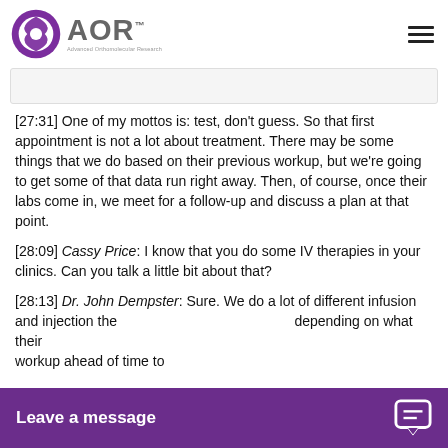AOR Advanced Orthomolecular Research
[27:31] One of my mottos is: test, don't guess. So that first appointment is not a lot about treatment. There may be some things that we do based on their previous workup, but we're going to get some of that data run right away. Then, of course, once their labs come in, we meet for a follow-up and discuss a plan at that point.
[28:09] Cassy Price: I know that you do some IV therapies in your clinics. Can you talk a little bit about that?
[28:13] Dr. John Dempster: Sure. We do a lot of different infusion and injection therapies and how we continue depending on what their workup ahead of time to